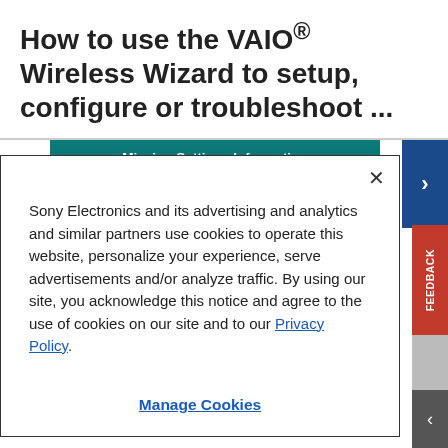How to use the VAIO® Wireless Wizard to setup, configure or troubleshoot ...
[Figure (screenshot): Screenshot of VAIO Wireless Wizard showing 'Missing Settings Information' dialog with teal/dark blue background. Text: 'VAIO® Wireless Wizard is unable to gather all router settings. This may be a result from:']
Sony Electronics and its advertising and analytics and similar partners use cookies to operate this website, personalize your experience, serve advertisements and/or analyze traffic. By using our site, you acknowledge this notice and agree to the use of cookies on our site and to our Privacy Policy.
Manage Cookies